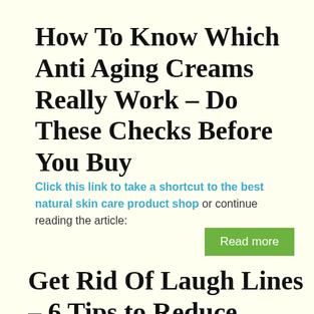How To Know Which Anti Aging Creams Really Work – Do These Checks Before You Buy
Click this link to take a shortcut to the best natural skin care product shop or continue reading the article:
Read more
Get Rid Of Laugh Lines – 6 Tips to Reduce Wrinkles...